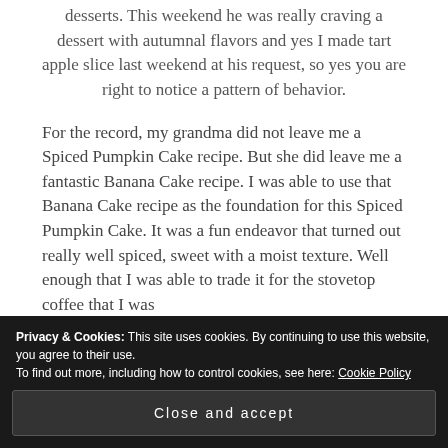desserts. This weekend he was really craving a dessert with autumnal flavors and yes I made tart apple slice last weekend at his request, so yes you are right to notice a pattern of behavior.
For the record, my grandma did not leave me a Spiced Pumpkin Cake recipe. But she did leave me a fantastic Banana Cake recipe. I was able to use that Banana Cake recipe as the foundation for this Spiced Pumpkin Cake. It was a fun endeavor that turned out really well spiced, sweet with a moist texture. Well enough that I was able to trade it for the stovetop coffee that I was
Privacy & Cookies: This site uses cookies. By continuing to use this website, you agree to their use.
To find out more, including how to control cookies, see here: Cookie Policy
Close and accept